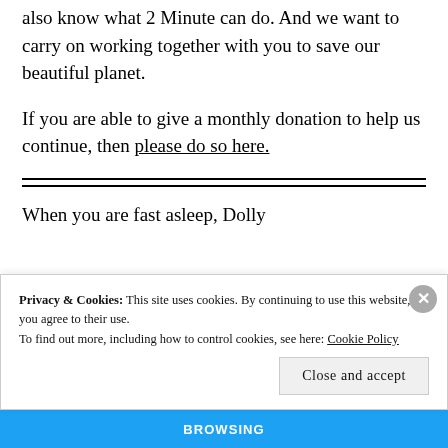also know what 2 Minute can do. And we want to carry on working together with you to save our beautiful planet.
If you are able to give a monthly donation to help us continue, then please do so here.
When you are fast asleep, Dolly (…
Privacy & Cookies: This site uses cookies. By continuing to use this website, you agree to their use.
To find out more, including how to control cookies, see here: Cookie Policy
Close and accept
BROWSING